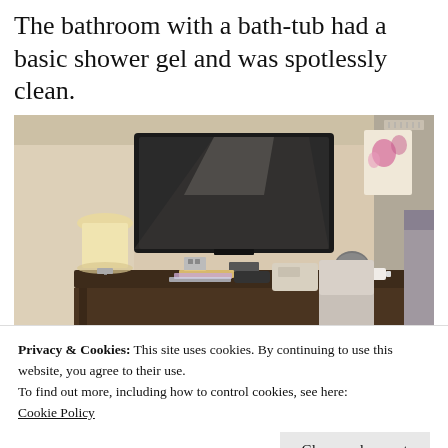The bathroom with a bath-tub had a basic shower gel and was spotlessly clean.
[Figure (photo): Hotel room interior showing a wall-mounted flat-screen TV, a wooden desk with a lamp, telephone, remote, brochures, a chair, and a kettle on the desk surface. Warm beige walls with a floral artwork on the right.]
Privacy & Cookies: This site uses cookies. By continuing to use this website, you agree to their use.
To find out more, including how to control cookies, see here:
Cookie Policy
Close and accept